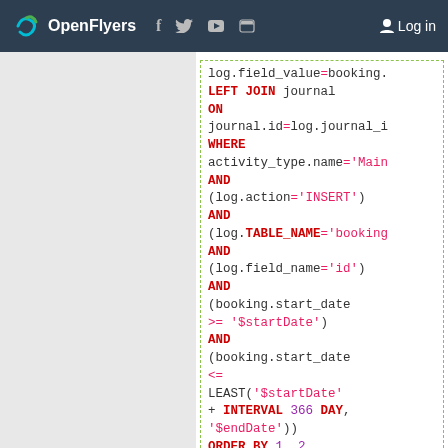OpenFlyers | Log in
[Figure (screenshot): Code block showing SQL query with LEFT JOIN, WHERE conditions on activity_type, log.action, log.TABLE_NAME, log.field_name, booking.start_date with date range, ORDER BY 1, 2]
Booking for